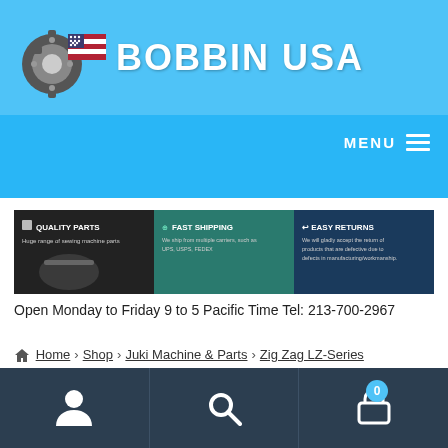BOBBIN USA
[Figure (logo): Bobbin USA logo with gear/wheel and American flag graphic, white text on sky blue background]
[Figure (infographic): Banner with three sections: QUALITY PARTS - Huge range of sewing machine parts; FAST SHIPPING - We ship from multiple carriers, such as UPS, USPS, FEDEX; EASY RETURNS - We will gladly accept the return of products that are defective due to defects in manufacturing/workmanship.]
Open Monday to Friday 9 to 5 Pacific Time Tel: 213-700-2967
Home > Shop > Juki Machine & Parts > Zig Zag LZ-Series > Bobbin Case Zig Zag Juki Singer Mitsubishi 502530
Account icon | Search icon | Cart icon (0)